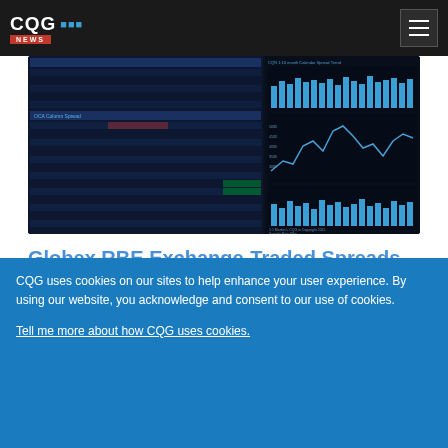CQG NEWS
[Figure (screenshot): CQG trading dashboard screenshot showing Globex RBE Exchange-Traded Spreads with market data tables, price grids, bar charts, and a line chart on dark background]
Globex RBE Exchange-Traded Spreads Dashboard
Thom Hartle
Sep 22, 2015
Updated: Sep 14, 2018
CQG uses cookies on our sites to help enhance your user experience. By using our website, you acknowledge and consent to our use of cookies.

Tell me more about how CQG uses cookies.